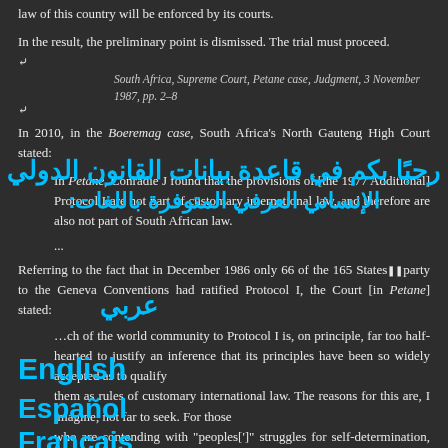law of this country will be enforced by its courts.
In the result, the preliminary point is dismissed. The trial must proceed.
South Africa, Supreme Court, Petane case, Judgment, 3 November 1987, pp. 2–8
In 2010, in the Boeremag case, South Africa's North Gauteng High Court stated:
In Petane, Conradie J found that the provisions of [the 1977 Additional] Protocol I are not part of customary international law, and therefore are also not part of South African law.
...
Referring to the fact that in December 1986 only 66 of the 165 States party to the Geneva Conventions had ratified Protocol I, the Court [in Petane] stated:
The approach of the world community to Protocol I is, on principle, far too half-hearted to justify an inference that its principles have been so widely accepted as to qualify them as rules of customary international law. The reasons for this are, I imagine, not far to seek. For those who are contending with "peoples[']" struggles for self-determination, adoption of the Protocol may prove awkward. For liberation movements who only